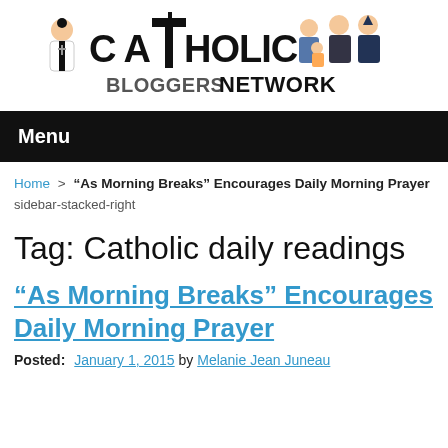[Figure (logo): Catholic Bloggers Network logo with cartoon figures of a priest, family, and bishop alongside stylized text]
Menu
Home > "As Morning Breaks" Encourages Daily Morning Prayer
sidebar-stacked-right
Tag: Catholic daily readings
“As Morning Breaks” Encourages Daily Morning Prayer
Posted: January 1, 2015 by Melanie Jean Juneau